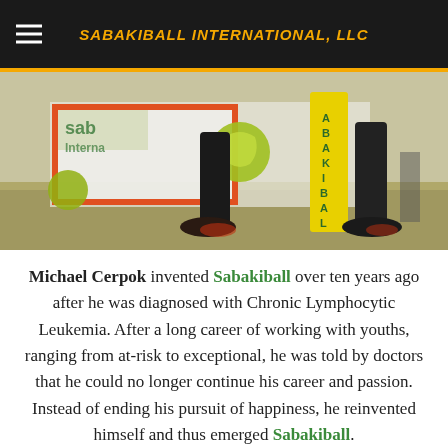SABAKIBALL INTERNATIONAL, LLC
[Figure (photo): Close-up photo of players' feet and legs near a Sabakiball goal post on a grassy field, with green and yellow sabakiball logo signage visible in the background]
Michael Cerpok invented Sabakiball over ten years ago after he was diagnosed with Chronic Lymphocytic Leukemia. After a long career of working with youths, ranging from at-risk to exceptional, he was told by doctors that he could no longer continue his career and passion. Instead of ending his pursuit of happiness, he reinvented himself and thus emerged Sabakiball.
To become aware that your lifetime is limited, and that you